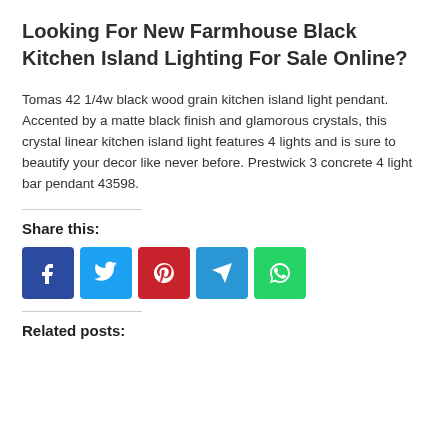Looking For New Farmhouse Black Kitchen Island Lighting For Sale Online?
Tomas 42 1/4w black wood grain kitchen island light pendant. Accented by a matte black finish and glamorous crystals, this crystal linear kitchen island light features 4 lights and is sure to beautify your decor like never before. Prestwick 3 concrete 4 light bar pendant 43598.
Share this:
[Figure (infographic): Row of five social media share buttons: Facebook (blue), Twitter (light blue), Pinterest (red), Telegram (blue), WhatsApp (green)]
Related posts: